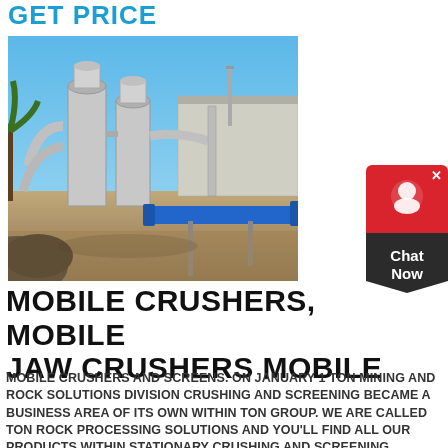GET PRICE
[Figure (photo): Industrial grinding/milling equipment installation with large cylindrical mills, piping, and a blue conveyor belt in an outdoor facility under clear blue sky.]
MOBILE CRUSHERS, MOBILE JAW CRUSHERS MOBILE
MOBILE CRUSHERS AND SCREENS. ON JANUARY 1 TON MINING AND ROCK SOLUTIONS DIVISION CRUSHING AND SCREENING BECAME A BUSINESS AREA OF ITS OWN WITHIN TON GROUP. WE ARE CALLED TON ROCK PROCESSING SOLUTIONS AND YOU'LL FIND ALL OUR PRODUCTS WITHIN STATIONARY CRUSHING AND SCREENING, MOBILE